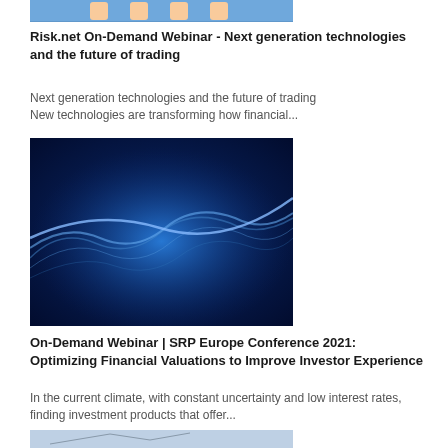[Figure (illustration): Cartoon illustration of people in lab coats / trading floor workers]
Risk.net On-Demand Webinar - Next generation technologies and the future of trading
Next generation technologies and the future of trading New technologies are transforming how financial...
[Figure (illustration): Abstract blue wave/mesh digital visualization on dark blue background]
On-Demand Webinar | SRP Europe Conference 2021: Optimizing Financial Valuations to Improve Investor Experience
In the current climate, with constant uncertainty and low interest rates, finding investment products that offer...
[Figure (illustration): Financial trading chart with stock market data overlay, blue and red tones]